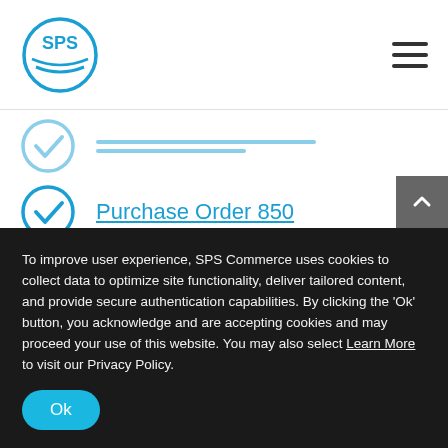SPS Commerce logo and navigation menu
[partial/cropped item — link]
Purchase Order 850
Purchase Order Acknowledgement 855
And many more!
To improve user experience, SPS Commerce uses cookies to collect data to optimize site functionality, deliver tailored content, and provide secure authentication capabilities. By clicking the ‘Ok’ button, you acknowledge and are accepting cookies and may proceed your use of this website. You may also select Learn More to visit our Privacy Policy.